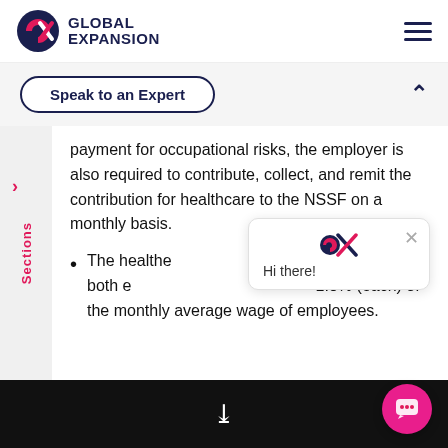GLOBAL EXPANSION
Speak to an Expert
payment for occupational risks, the employer is also required to contribute, collect, and remit the contribution for healthcare to the NSSF on a monthly basis.
The healthcare contribution is collected from both employer and employee at 1.3% (each) of the monthly average wage of employees.